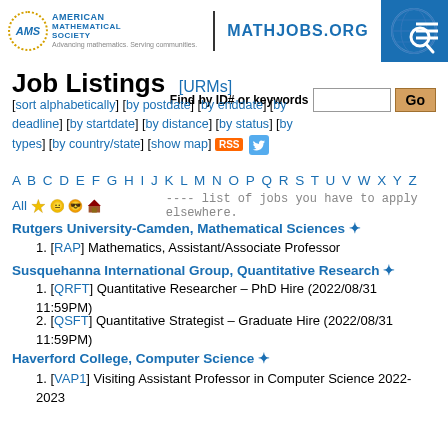AMS MATHJOBS.ORG
Job Listings [URMs]
[sort alphabetically] [by postdate] [by enddate] [by deadline] [by startdate] [by distance] [by status] [by types] [by country/state] [show map] RSS
Find by ID# or keywords  Go
A B C D E F G H I J K L M N O P Q R S T U V W X Y Z
All ---- list of jobs you have to apply elsewhere.
Rutgers University-Camden, Mathematical Sciences *
[RAP] Mathematics, Assistant/Associate Professor
Susquehanna International Group, Quantitative Research *
[QRFT] Quantitative Researcher – PhD Hire (2022/08/31 11:59PM)
[QSFT] Quantitative Strategist – Graduate Hire (2022/08/31 11:59PM)
Haverford College, Computer Science *
[VAP1] Visiting Assistant Professor in Computer Science 2022-2023